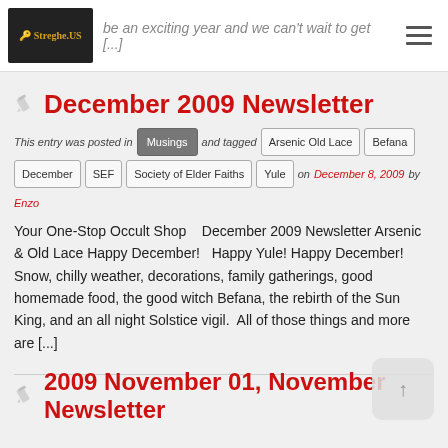Streghe.US — be an exciting year and we can't wait to get [...]
December 2009 Newsletter
This entry was posted in Musings and tagged Arsenic Old Lace, Befana, December, SEF, Society of Elder Faiths, Yule on December 8, 2009 by Enzo
Your One-Stop Occult Shop   December 2009 Newsletter Arsenic & Old Lace Happy December!  Happy Yule! Happy December! Snow, chilly weather, decorations, family gatherings, good homemade food, the good witch Befana, the rebirth of the Sun King, and an all night Solstice vigil.  All of those things and more are [...]
2009 November 01, November Newsletter